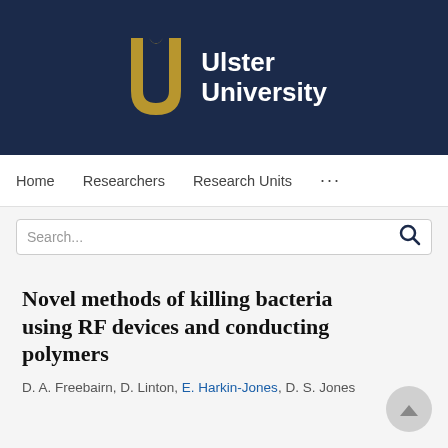[Figure (logo): Ulster University logo with gold U symbol and white text on dark navy background]
Home   Researchers   Research Units   ...
Search...
Novel methods of killing bacteria using RF devices and conducting polymers
D. A. Freebairn, D. Linton, E. Harkin-Jones, D. S. Jones